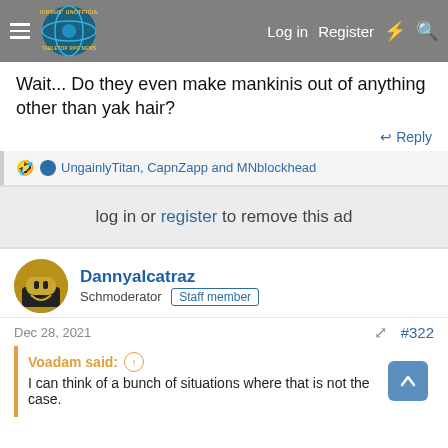Morrus' Unofficial Tabletop RPG News — Log in | Register
Wait... Do they even make mankinis out of anything other than yak hair?
↩ Reply
🤣 UngainlyTitan, CapnZapp and MNblockhead
log in or register to remove this ad
Dannyalcatraz
Schmoderator  Staff member
Dec 28, 2021   #322
Voadam said: ↑
I can think of a bunch of situations where that is not the case.